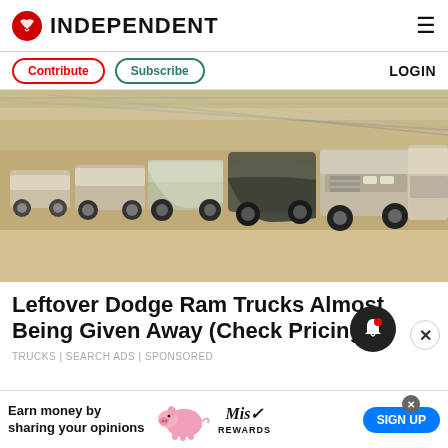INDEPENDENT
Contribute | Subscribe | LOGIN
[Figure (photo): Multiple trucks and SUVs covered with plastic sheets or car covers parked in a row inside a large dusty warehouse or barn with a metal roof structure visible overhead.]
Leftover Dodge Ram Trucks Almost Being Given Away (Check Pricing)
TRUCKS | SEARCH ADS | Sponsored
Earn money by sharing your opinions